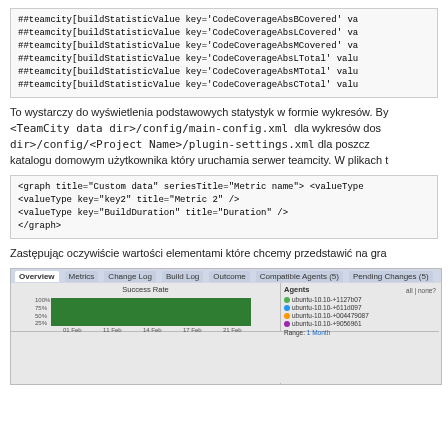[Figure (screenshot): Code block showing ##teamcity[buildStatisticValue ...] lines for CodeCoverageAbsBCovered, CodeCoverageAbsLCovered, CodeCoverageAbsMCovered, CodeCoverageAbsLTotal, CodeCoverageAbsMTotal, CodeCoverageAbsCTotal]
To wystarczy do wyświetlenia podstawowych statystyk w formie wykresów. By <TeamCity data dir>/config/main-config.xml dla wykresów dos dir>/config/<Project Name>/plugin-settings.xml dla poszcz katalogu domowym użytkownika który uruchamia serwer teamcity. W plikach t
[Figure (screenshot): Code block showing XML graph configuration: <graph title="Custom data" seriesTitle="Metric name"> <valueType key="key2" title="Metric 2" /> <valueType key="BuildDuration" title="Duration" /> </graph>]
Zastępując oczywiście wartości elementami które chcemy przedstawić na gra
[Figure (screenshot): TeamCity build overview screenshot showing tabs (Overview, Metrics, Change Log, Build Log, Outcome, Compatible Agents, Pending Changes) and two charts: Success Rate bar chart (green bars) and Build duration (excluding checkout time) line chart, both with agent legends on the right.]